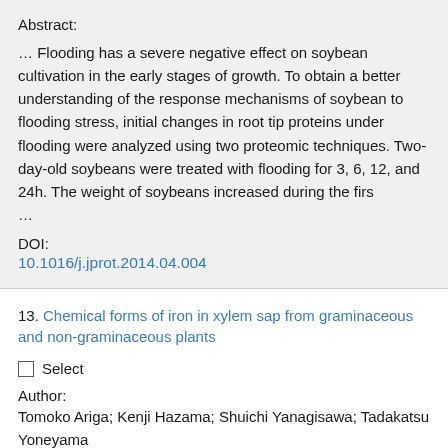Abstract:
… Flooding has a severe negative effect on soybean cultivation in the early stages of growth. To obtain a better understanding of the response mechanisms of soybean to flooding stress, initial changes in root tip proteins under flooding were analyzed using two proteomic techniques. Two-day-old soybeans were treated with flooding for 3, 6, 12, and 24h. The weight of soybeans increased during the firs …
DOI: 10.1016/j.jprot.2014.04.004
13. Chemical forms of iron in xylem sap from graminaceous and non-graminaceous plants
Select
Author:
Tomoko Ariga; Kenji Hazama; Shuichi Yanagisawa; Tadakatsu Yoneyama